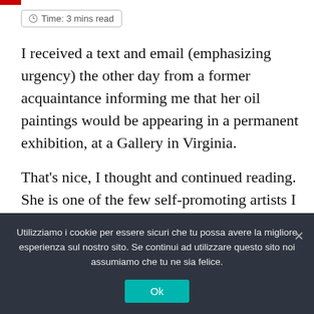Time: 3 mins read
I received a text and email (emphasizing urgency) the other day from a former acquaintance informing me that her oil paintings would be appearing in a permanent exhibition, at a Gallery in Virginia.
That’s nice, I thought and continued reading. She is one of the few self-promoting artists I know, as most need the support and assistance
Utilizziamo i cookie per essere sicuri che tu possa avere la migliore esperienza sul nostro sito. Se continui ad utilizzare questo sito noi assumiamo che tu ne sia felice.